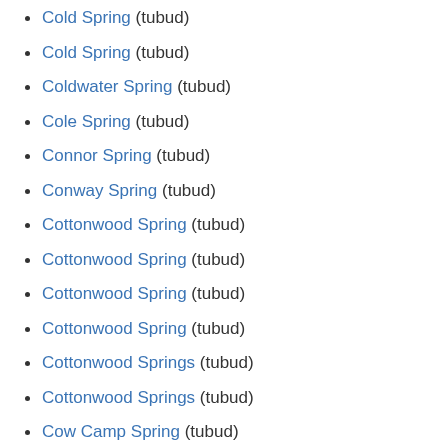Cold Spring (tubud)
Cold Spring (tubud)
Coldwater Spring (tubud)
Cole Spring (tubud)
Connor Spring (tubud)
Conway Spring (tubud)
Cottonwood Spring (tubud)
Cottonwood Spring (tubud)
Cottonwood Spring (tubud)
Cottonwood Spring (tubud)
Cottonwood Springs (tubud)
Cottonwood Springs (tubud)
Cow Camp Spring (tubud)